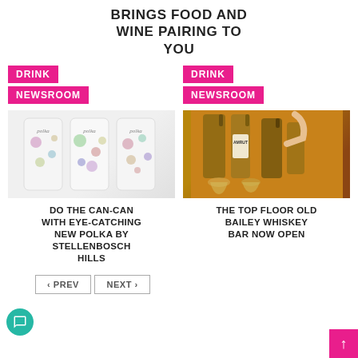BRINGS FOOD AND WINE PAIRING TO YOU
DRINK
NEWSROOM
[Figure (photo): Three Polka by Stellenbosch Hills canned wine products with colorful polka dot designs]
DO THE CAN-CAN WITH EYE-CATCHING NEW POLKA BY STELLENBOSCH HILLS
DRINK
NEWSROOM
[Figure (photo): Whiskey bottles including Amrut brand with glasses being poured at The Top Floor Old Bailey Whiskey Bar]
THE TOP FLOOR OLD BAILEY WHISKEY BAR NOW OPEN
‹ PREV   NEXT ›